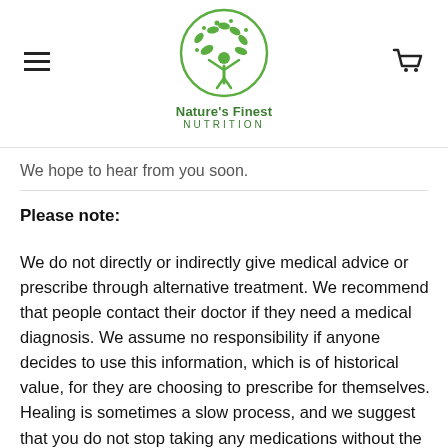Nature's Finest NUTRITION
We hope to hear from you soon.
Please note:
We do not directly or indirectly give medical advice or prescribe through alternative treatment. We recommend that people contact their doctor if they need a medical diagnosis. We assume no responsibility if anyone decides to use this information, which is of historical value, for they are choosing to prescribe for themselves. Healing is sometimes a slow process, and we suggest that you do not stop taking any medications without the